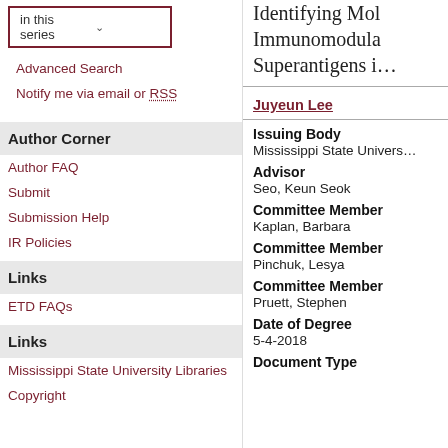in this series (dropdown)
Advanced Search
Notify me via email or RSS
Author Corner
Author FAQ
Submit
Submission Help
IR Policies
Links
ETD FAQs
Links
Mississippi State University Libraries
Copyright
Identifying Mol… Immunomodula… Superantigens i…
Juyeun Lee
Issuing Body
Mississippi State Univers…
Advisor
Seo, Keun Seok
Committee Member
Kaplan, Barbara
Committee Member
Pinchuk, Lesya
Committee Member
Pruett, Stephen
Date of Degree
5-4-2018
Document Type